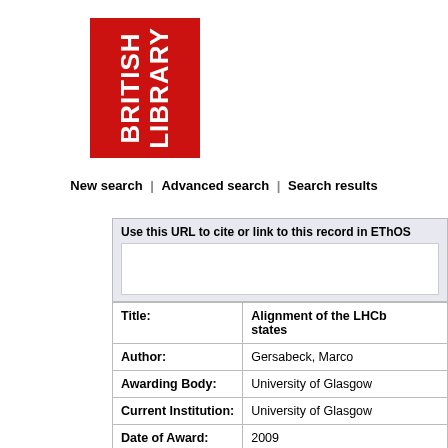[Figure (logo): British Library logo — red rectangle with white bold text 'BRITISH LIBRARY' rotated 90 degrees counter-clockwise]
New search | Advanced search | Search results
Use this URL to cite or link to this record in EThOS
| Field | Value |
| --- | --- |
| Title: | Alignment of the LHCb... states |
| Author: | Gersabeck, Marco |
| Awarding Body: | University of Glasgow |
| Current Institution: | University of Glasgow |
| Date of Award: | 2009 |